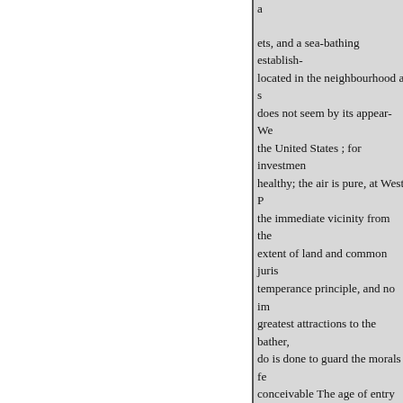a

ets, and a sea-bathing establish-
located in the neighbourhood a s
does not seem by its appear- We
the United States ; for investmen
healthy; the air is pure, at West P
the immediate vicinity from the
extent of land and common juris
temperance principle, and no im
greatest attractions to the bather,
do is done to guard the morals fe
conceivable The age of entry int
examination the island with the r
construction, joining the Britann
sea-going direct Portsmouth line
Portsmouth, ing should also be th
those of two hours from London
commu

for examination after two years,
Cumberland, where there is now
cadets would, as in the former do
steamer, which under any to so